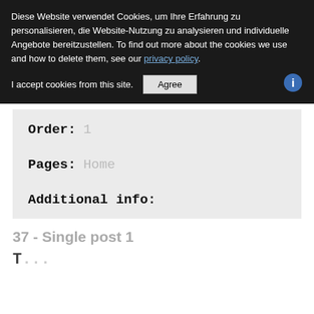Diese Website verwendet Cookies, um Ihre Erfahrung zu personalisieren, die Website-Nutzung zu analysieren und individuelle Angebote bereitzustellen. To find out more about the cookies we use and how to delete them, see our privacy policy.
I accept cookies from this site.
Order: 1
Pages: Home
Additional info:
37 - Single post 1
T...